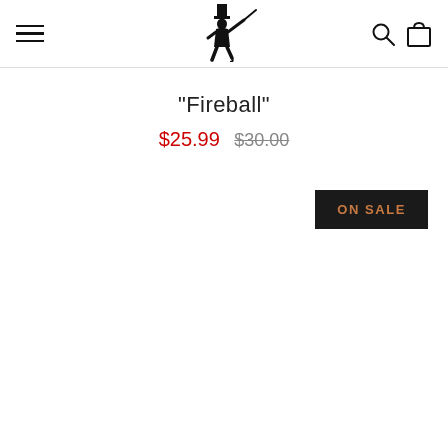Navigation bar with hamburger menu, logo, search and cart icons
"Fireball"
$25.99  $30.00
ON SALE